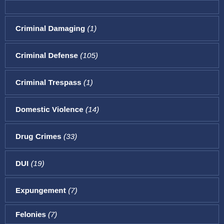Criminal Damaging (1)
Criminal Defense (105)
Criminal Trespass (1)
Domestic Violence (14)
Drug Crimes (33)
DUI (19)
Expungement (7)
Felonies (7)